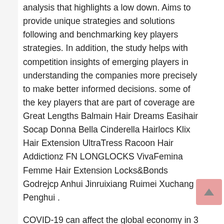analysis that highlights a low down. Aims to provide unique strategies and solutions following and benchmarking key players strategies. In addition, the study helps with competition insights of emerging players in understanding the companies more precisely to make better informed decisions. some of the key players that are part of coverage are Great Lengths Balmain Hair Dreams Easihair Socap Donna Bella Cinderella Hairlocs Klix Hair Extension UltraTress Racoon Hair Addictionz FN LONGLOCKS VivaFemina Femme Hair Extension Locks&Bonds Godrejcp Anhui Jinruixiang Ruimei Xuchang Penghui .
COVID-19 can affect the global economy in 3 main ways: by directly affecting production and demand, by creating supply chain and market